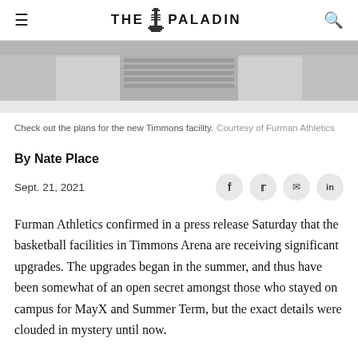THE PALADIN
[Figure (photo): Interior architectural rendering of the new Timmons Arena basketball facility showing structural elements and walls in grey tones]
Check out the plans for the new Timmons facility.  Courtesy of Furman Athletics
By Nate Place
Sept. 21, 2021
Furman Athletics confirmed in a press release Saturday that the basketball facilities in Timmons Arena are receiving significant upgrades. The upgrades began in the summer, and thus have been somewhat of an open secret amongst those who stayed on campus for MayX and Summer Term, but the exact details were clouded in mystery until now.